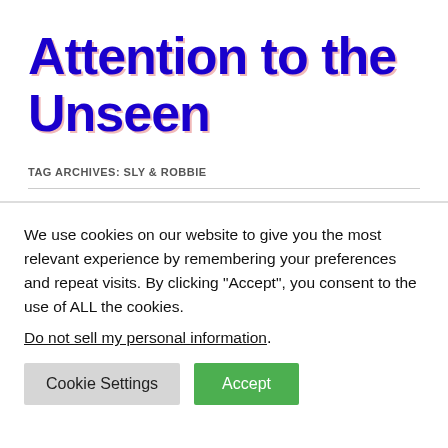Attention to the Unseen
TAG ARCHIVES: SLY & ROBBIE
We use cookies on our website to give you the most relevant experience by remembering your preferences and repeat visits. By clicking “Accept”, you consent to the use of ALL the cookies.
Do not sell my personal information.
Cookie Settings   Accept